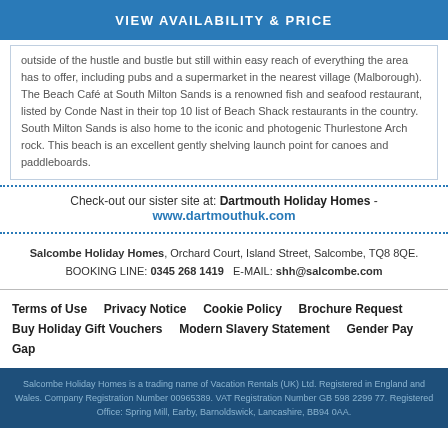VIEW AVAILABILITY & PRICE
outside of the hustle and bustle but still within easy reach of everything the area has to offer, including pubs and a supermarket in the nearest village (Malborough). The Beach Café at South Milton Sands is a renowned fish and seafood restaurant, listed by Conde Nast in their top 10 list of Beach Shack restaurants in the country. South Milton Sands is also home to the iconic and photogenic Thurlestone Arch rock. This beach is an excellent gently shelving launch point for canoes and paddleboards.
Check-out our sister site at: Dartmouth Holiday Homes - www.dartmouthuk.com
Salcombe Holiday Homes, Orchard Court, Island Street, Salcombe, TQ8 8QE. BOOKING LINE: 0345 268 1419   E-MAIL: shh@salcombe.com
Terms of Use
Privacy Notice
Cookie Policy
Brochure Request
Buy Holiday Gift Vouchers
Modern Slavery Statement
Gender Pay Gap
Salcombe Holiday Homes is a trading name of Vacation Rentals (UK) Ltd. Registered in England and Wales. Company Registration Number 00965389. VAT Registration Number GB 598 2299 77. Registered Office: Spring Mill, Earby, Barnoldswick, Lancashire, BB94 0AA.